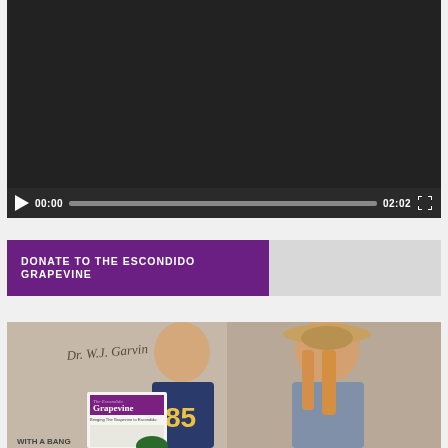[Figure (screenshot): Video player showing a dark/black screen with playback controls: play button, current time 00:00, progress bar, total time 02:02, and fullscreen button]
[Figure (screenshot): Purple donate banner reading DONATE TO THE ESCONDIDO GRAPEVINE]
[Figure (photo): Photo of two people smiling, one holding a copy of The Escondido Grapevine newspaper. Text on wall says Dr. W.J. Garvin. The man wears a dark shirt with 85 on it and the woman wears a straw hat. Partial text visible: WITH A BANG]